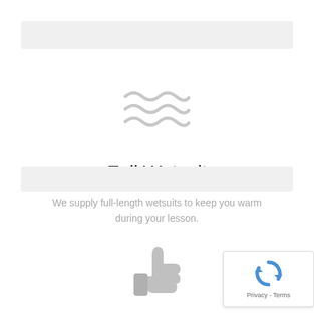[Figure (illustration): Light gray navigation bar or header placeholder strip]
[Figure (illustration): Three wavy lines icon in light gray, representing water or waves]
Full Wetsuit
We supply full-length wetsuits to keep you warm during your lesson.
[Figure (illustration): Light gray horizontal bar / button placeholder]
[Figure (illustration): Thumbs up icon in light gray]
[Figure (other): reCAPTCHA privacy badge with recycling-arrow logo and 'Privacy - Terms' text]